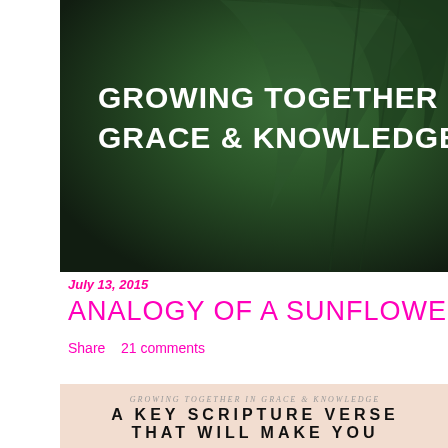[Figure (photo): Dark green garden plants on dark background with white bold text overlay reading GROWING TOGETHER IN GRACE & KNOWLEDGE]
July 13, 2015
ANALOGY OF A SUNFLOWER
Share    21 comments
[Figure (photo): Beige/peach background with blog header text: GROWING TOGETHER IN GRACE & KNOWLEDGE and large title A KEY SCRIPTURE VERSE THAT WILL MAKE YOU AN OVERCOMER IN THE NEW YEAR, with a person's head visible at bottom]